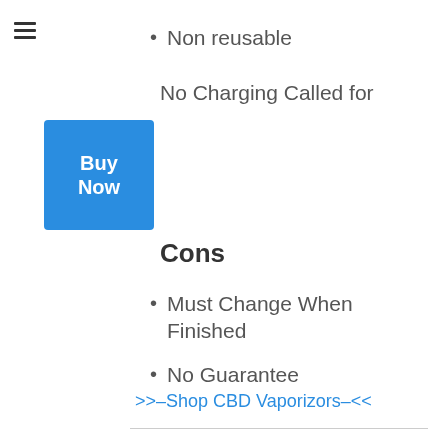Non reusable
No Charging Called for
Cons
Must Change When Finished
No Guarantee
>>–Shop CBD Vaporizors–<<
CBDFx CBD Vape Pen– Fresh Mint– Ideal CBD Vape Pen
Item Details And Also Benefits